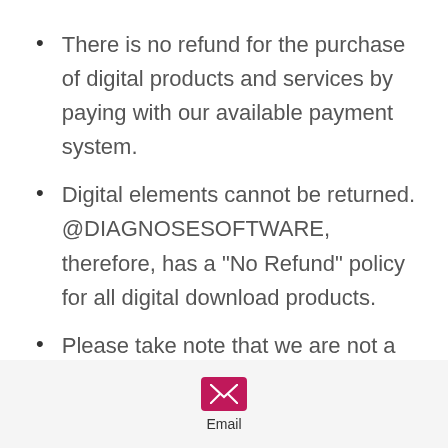There is no refund for the purchase of digital products and services by paying with our available payment system.
Digital elements cannot be returned. @DIAGNOSESOFTWARE, therefore, has a "No Refund" policy for all digital download products.
Please take note that we are not a dealer but a private person.
Since this is a private sale, we
Email